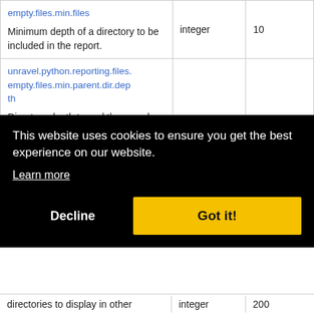| Parameter | Type | Default |
| --- | --- | --- |
| empty.files.min.files
Minimum depth of a directory to be included in the report. | integer | 10 |
| unravel.python.reporting.files.empty.files.min.parent.dir.depth
Directory depth to end the search at.
For instance, if depth=2, a directory having depth more | integer | 0 |
| directories to display in other | integer | 200 |
This website uses cookies to ensure you get the best experience on our website. Learn more
Decline | Got it!